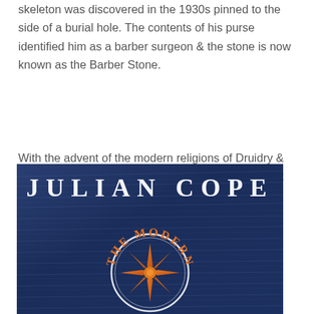skeleton was discovered in the 1930s pinned to the side of a burial hole. The contents of his purse identified him as a barber surgeon & the stone is now known as the Barber Stone.
With the advent of the modern religions of Druidry & Wicca, Avebury has regained ritual significance & at equinoxes & solstices neopagan ceremonies are performed at the site which is considered to be a living temple.
[Figure (illustration): Book cover of 'The Modern Antiquarian' by Julian Cope. Blue textured stone background with large white serif text 'JULIAN COPE' at top. Below, orange/gold curved text reads 'THE MODERN' in an arc, with a compass rose or sun symbol in orange inside a circular frame.]